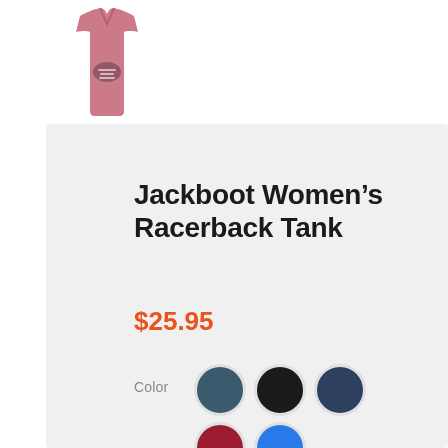[Figure (photo): Pink women's racerback tank top product thumbnail with small graphic print]
Jackboot Women's Racerback Tank
$25.95
Color
[Figure (infographic): Five color swatches: teal/slate, black, navy, crimson/dark red, bright blue]